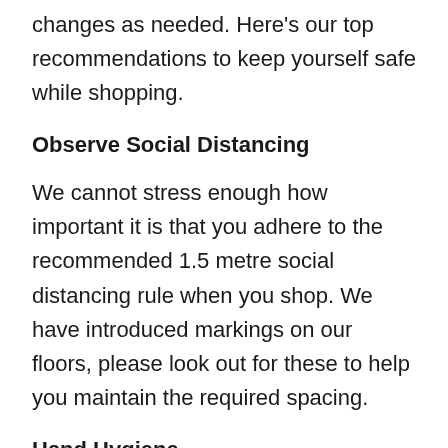changes as needed. Here's our top recommendations to keep yourself safe while shopping.
Observe Social Distancing
We cannot stress enough how important it is that you adhere to the recommended 1.5 metre social distancing rule when you shop. We have introduced markings on our floors, please look out for these to help you maintain the required spacing.
Hand Hygiene
Your best defence is to maintain scrupulous hand